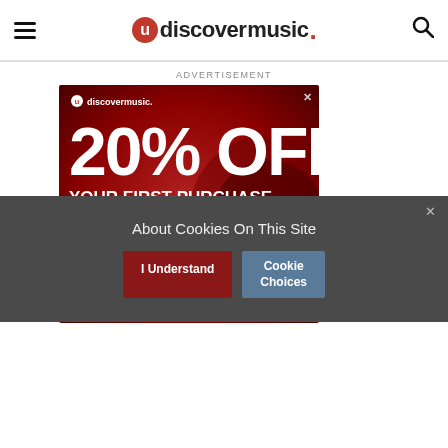udiscovermusic.
ADVERTISEMENT
[Figure (screenshot): uDiscoverMusic advertisement banner: 20% OFF YOUR FIRST PURCHASE USE CODE: UD20OFF SHOP NOW, on a dark red background with vinyl record imagery]
About Cookies On This Site
I Understand | Cookie Choices